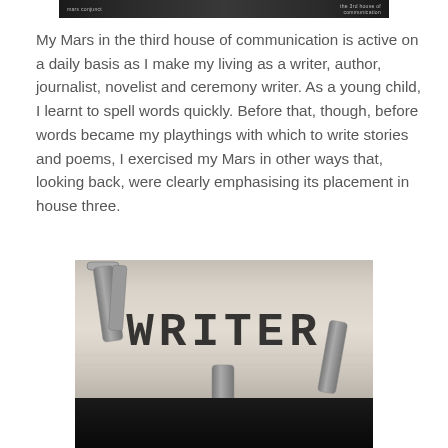[Figure (screenshot): Dark header bar with small text on left and right sides]
My Mars in the third house of communication is active on a daily basis as I make my living as a writer, author, journalist, novelist and ceremony writer. As a young child, I learnt to spell words quickly. Before that, though, before words became my playthings with which to write stories and poems, I exercised my Mars in other ways that, looking back, were clearly emphasising its placement in house three.
[Figure (photo): Close-up black and white photo of a typewriter with the word WRITER typed on paper, with typewriter arms visible]